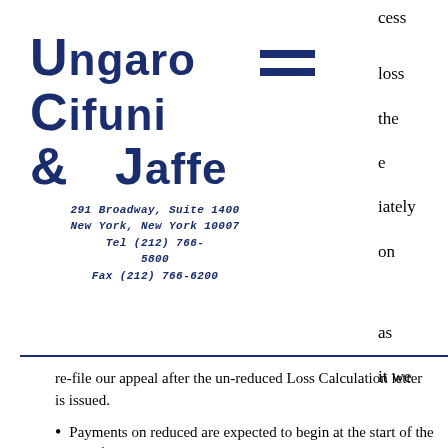Ungaro Cifuni & Jaffe
291 Broadway, Suite 1400
New York, New York 10007
Tel (212) 766-5800
Fax (212) 766-6200
re-file our appeal after the un-reduced Loss Calculation letter is issued.
Payments on reduced are expected to begin at the start of the next fiscal year, which begins October 1, 2019.
All future Loss Calculation letters will contain up-reduced awards